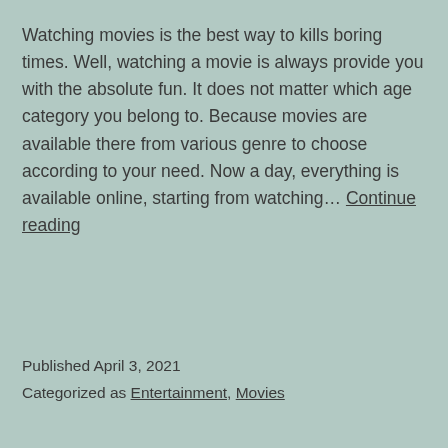Watching movies is the best way to kills boring times. Well, watching a movie is always provide you with the absolute fun. It does not matter which age category you belong to. Because movies are available there from various genre to choose according to your need. Now a day, everything is available online, starting from watching… Continue reading
Published April 3, 2021
Categorized as Entertainment, Movies